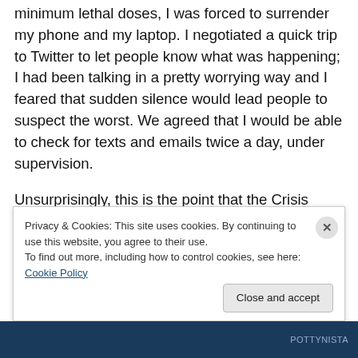minimum lethal doses, I was forced to surrender my phone and my laptop. I negotiated a quick trip to Twitter to let people know what was happening; I had been talking in a pretty worrying way and I feared that sudden silence would lead people to suspect the worst. We agreed that I would be able to check for texts and emails twice a day, under supervision.
Unsurprisingly, this is the point that the Crisis Team got involved.
So now I can't run to a city. I can't even run to Biggertown.
Privacy & Cookies: This site uses cookies. By continuing to use this website, you agree to their use.
To find out more, including how to control cookies, see here: Cookie Policy
POTTYNISTA